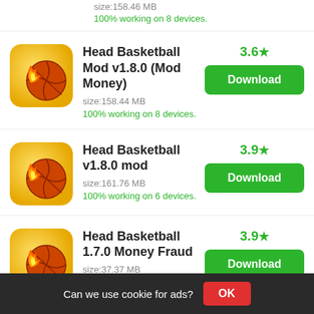size:158.46 MB
100% working on 8 devices.
Head Basketball Mod v1.8.0 (Mod Money)
3.6★
Download
size:158.44 MB
100% working on 8 devices.
Head Basketball v1.8.0 mod
3.9★
Download
size:161.76 MB
100% working on 6 devices.
Head Basketball 1.7.0 Money Fraud
3.9★
Download
size:37.37 MB
100% working on 3 devices.
Can we use cookie for ads?
OK